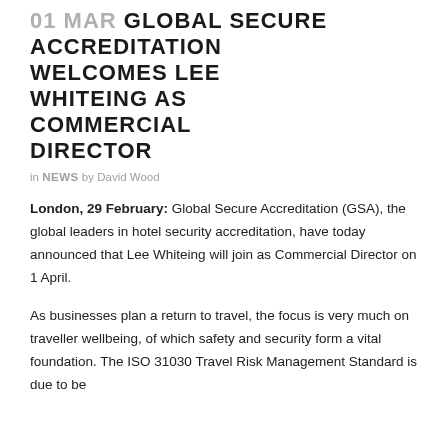01 MAR GLOBAL SECURE ACCREDITATION WELCOMES LEE WHITEING AS COMMERCIAL DIRECTOR
in NEWS by David Wood
London, 29 February: Global Secure Accreditation (GSA), the global leaders in hotel security accreditation, have today announced that Lee Whiteing will join as Commercial Director on 1 April.
As businesses plan a return to travel, the focus is very much on traveller wellbeing, of which safety and security form a vital foundation. The ISO 31030 Travel Risk Management Standard is due to be